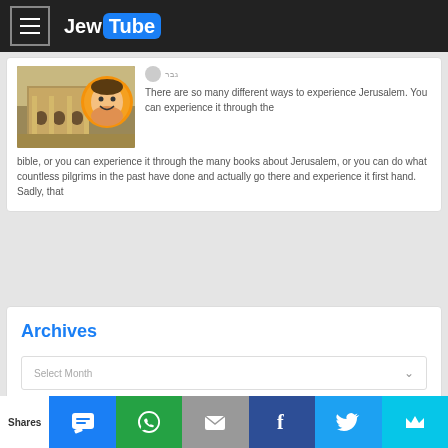JewTube
[Figure (photo): Thumbnail image showing Jerusalem architecture with a smiling child face in an orange circle overlay]
There are so many different ways to experience Jerusalem. You can experience it through the bible, or you can experience it through the many books about Jerusalem, or you can do what countless pilgrims in the past have done and actually go there and experience it first hand. Sadly, that
Archives
Select Month